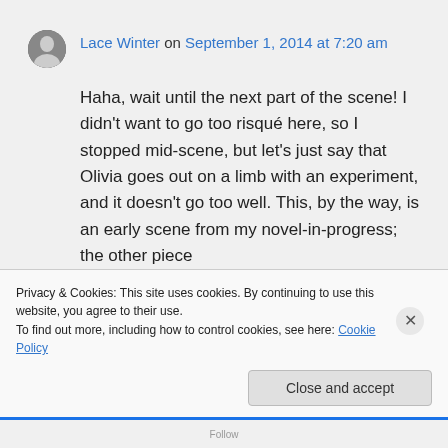Lace Winter on September 1, 2014 at 7:20 am
Haha, wait until the next part of the scene! I didn't want to go too risqué here, so I stopped mid-scene, but let's just say that Olivia goes out on a limb with an experiment, and it doesn't go too well. This, by the way, is an early scene from my novel-in-progress; the other piece
Privacy & Cookies: This site uses cookies. By continuing to use this website, you agree to their use. To find out more, including how to control cookies, see here: Cookie Policy
Close and accept